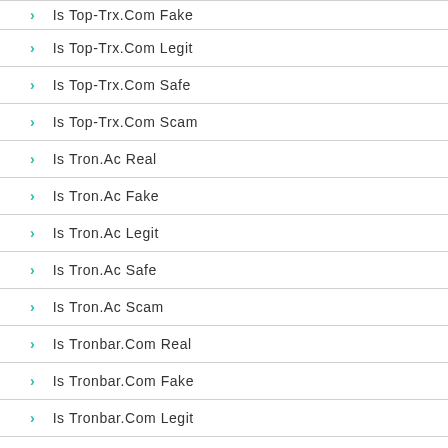Is Top-Trx.Com Fake
Is Top-Trx.Com Legit
Is Top-Trx.Com Safe
Is Top-Trx.Com Scam
Is Tron.Ac Real
Is Tron.Ac Fake
Is Tron.Ac Legit
Is Tron.Ac Safe
Is Tron.Ac Scam
Is Tronbar.Com Real
Is Tronbar.Com Fake
Is Tronbar.Com Legit
Is Tronbar.Com Safe
Is Tronbar.Com Scam